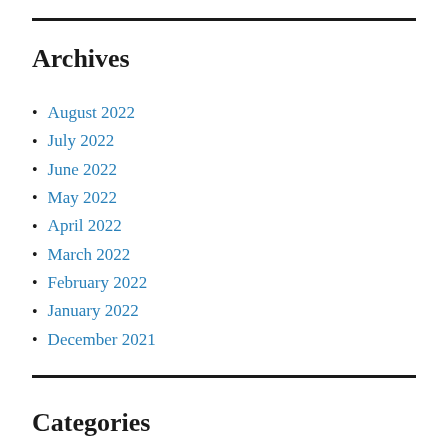Archives
August 2022
July 2022
June 2022
May 2022
April 2022
March 2022
February 2022
January 2022
December 2021
Categories